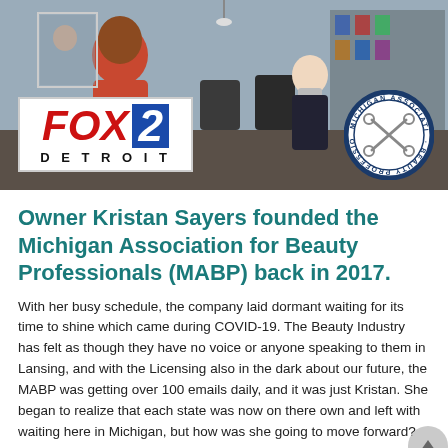[Figure (photo): Screenshot of a FOX 2 Detroit news segment showing a hair salon interior with two people wearing masks. The FOX 2 Detroit logo is overlaid in the lower left, and the Michigan Association of Beauty Professionals (MABP) circular logo is in the lower right.]
Owner Kristan Sayers founded the Michigan Association for Beauty Professionals (MABP) back in 2017.
With her busy schedule, the company laid dormant waiting for its time to shine which came during COVID-19. The Beauty Industry has felt as though they have no voice or anyone speaking to them in Lansing, and with the Licensing also in the dark about our future, the MABP was getting over 100 emails daily, and it was just Kristan. She began to realize that each state was now on there own and left with waiting here in Michigan, but how was she going to move forward? So, the night Georiga was announcing they were